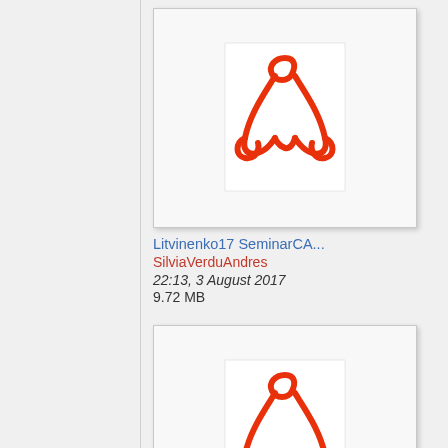[Figure (other): PDF file thumbnail showing Adobe Acrobat PDF icon (red triangular figure on white background) for Litvinenko17 SeminarCA...]
Litvinenko17 SeminarCA...
SilviaVerduAndres
22:13, 3 August 2017
9.72 MB
[Figure (other): PDF file thumbnail showing Adobe Acrobat PDF icon (red triangular figure on white background) for MikeBlaskiewicz CASE-2...]
MikeBlaskiewicz CASE-2...
SilviaVerduAndres
15:15, 26 May 2017